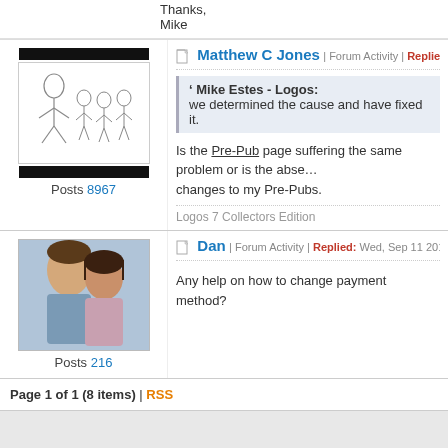Thanks,
Mike
Matthew C Jones | Forum Activity | Replied: Sat, Sep 7 2013 8:17 A
Mike Estes - Logos: we determined the cause and have fixed it.
Is the Pre-Pub page suffering the same problem or is the absence of changes to my Pre-Pubs.
Logos 7 Collectors Edition
Dan | Forum Activity | Replied: Wed, Sep 11 2013 9:39 AM
Any help on how to change payment method?
Page 1 of 1 (8 items) | RSS
Copyright Fait